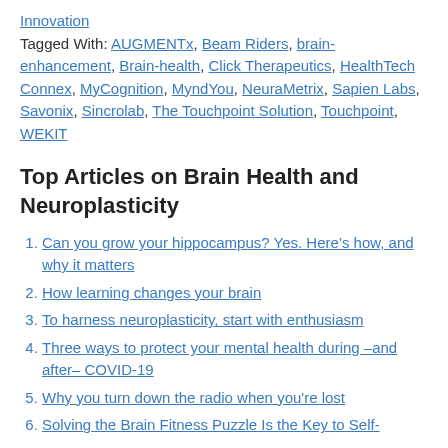Tagged With: AUGMENTx, Beam Riders, brain-enhancement, Brain-health, Click Therapeutics, HealthTech Connex, MyCognition, MyndYou, NeuraMetrix, Sapien Labs, Savonix, Sincrolab, The Touchpoint Solution, Touchpoint, WEKIT
Top Articles on Brain Health and Neuroplasticity
Can you grow your hippocampus? Yes. Here’s how, and why it matters
How learning changes your brain
To harness neuroplasticity, start with enthusiasm
Three ways to protect your mental health during –and after– COVID-19
Why you turn down the radio when you're lost
Solving the Brain Fitness Puzzle Is the Key to Self-